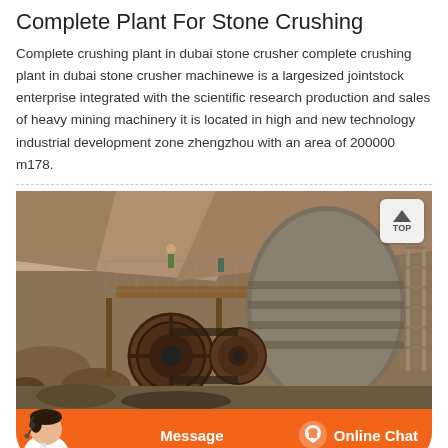Complete Plant For Stone Crushing
Complete crushing plant in dubai stone crusher complete crushing plant in dubai stone crusher machinewe is a largesized jointstock enterprise integrated with the scientific research production and sales of heavy mining machinery it is located in high and new technology industrial development zone zhengzhou with an area of 200000 m178.
[Figure (photo): Outdoor stone crushing plant with large industrial crusher machinery, conveyor belts, scaffolding, ladders, and rocky terrain in the background. Workers visible on the platform.]
[Figure (infographic): Orange chat bar at bottom with a customer service avatar on the left, 'Message' button in the center, and 'Online Chat' button with headset icon on the right.]